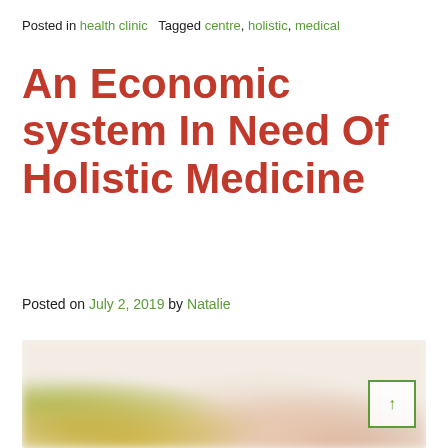Posted in health clinic   Tagged centre, holistic, medical
An Economic system In Need Of Holistic Medicine
Posted on July 2, 2019 by Natalie
[Figure (photo): A blurred/soft-focus photo of a person receiving a holistic or wellness treatment, with flowers and greenery visible in the foreground. A green-outlined scroll-to-top button is overlaid in the lower right corner.]